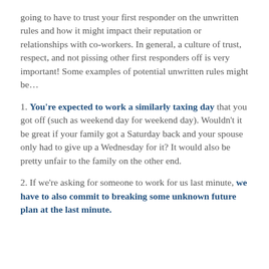going to have to trust your first responder on the unwritten rules and how it might impact their reputation or relationships with co-workers. In general, a culture of trust, respect, and not pissing other first responders off is very important! Some examples of potential unwritten rules might be…
1. You're expected to work a similarly taxing day that you got off (such as weekend day for weekend day). Wouldn't it be great if your family got a Saturday back and your spouse only had to give up a Wednesday for it? It would also be pretty unfair to the family on the other end.
2. If we're asking for someone to work for us last minute, we have to also commit to breaking some unknown future plan at the last minute.